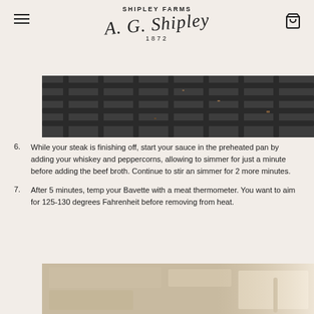SHIPLEY FARMS · A. G. Shipley · 1872
[Figure (photo): Close-up photograph of dark metal grill grates on a stove or grill, with some residue/debris visible on the grates]
6. While your steak is finishing off, start your sauce in the preheated pan by adding your whiskey and peppercorns, allowing to simmer for just a minute before adding the beef broth. Continue to stir an simmer for 2 more minutes.
7. After 5 minutes, temp your Bavette with a meat thermometer. You want to aim for 125-130 degrees Fahrenheit before removing from heat.
[Figure (photo): Partial view of a light-colored stone or ceramic surface with what appears to be a knife or thermometer implement visible at the right edge]